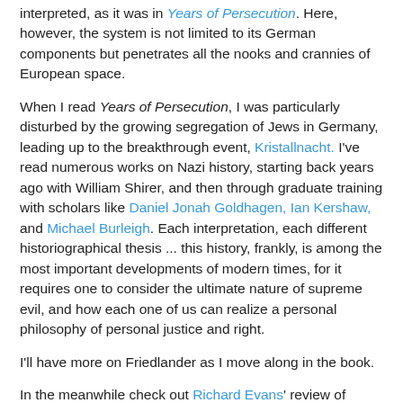interpreted, as it was in Years of Persecution. Here, however, the system is not limited to its German components but penetrates all the nooks and crannies of European space.
When I read Years of Persecution, I was particularly disturbed by the growing segregation of Jews in Germany, leading up to the breakthrough event, Kristallnacht. I've read numerous works on Nazi history, starting back years ago with William Shirer, and then through graduate training with scholars like Daniel Jonah Goldhagen, Ian Kershaw, and Michael Burleigh. Each interpretation, each different historiographical thesis ... this history, frankly, is among the most important developments of modern times, for it requires one to consider the ultimate nature of supreme evil, and how each one of us can realize a personal philosophy of personal justice and right.
I'll have more on Friedlander as I move along in the book.
In the meanwhile check out Richard Evans' review of Years of Extermination at the New York Times.